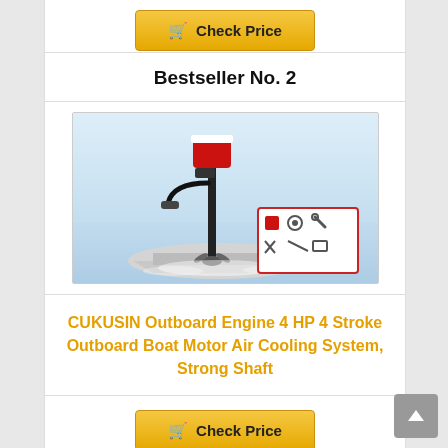[Figure (other): Check Price button at top of page (partial card fragment)]
Bestseller No. 2
[Figure (photo): Product photo of CUKUSIN Outboard Engine 4 HP 4 Stroke outboard boat motor mounted on a white boat on water, with accessories shown in an inset box in the lower right.]
CUKUSIN Outboard Engine 4 HP 4 Stroke Outboard Boat Motor Air Cooling System, Strong Shaft
[Figure (other): Check Price button at bottom of card]